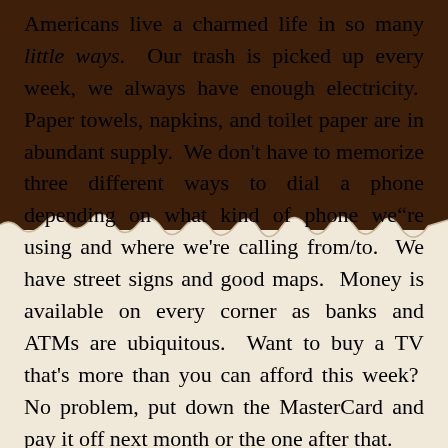Americans live a charmed life in so many little ways. Our trash is picked up every week, we always have enough electricity. Paper towels, napkins, and toilet paper are in abundant supply. We don't have to memorize three different ways to dial a phone depending on what kind of phone we"re using and where we're calling from/to. We have street signs and good maps. Money is available on every corner as banks and ATMs are ubiquitous. Want to buy a TV that's more than you can afford this week? No problem, put down the MasterCard and pay it off next month or the one after that.